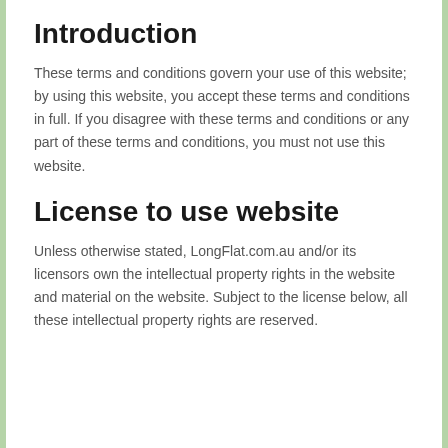Introduction
These terms and conditions govern your use of this website; by using this website, you accept these terms and conditions in full. If you disagree with these terms and conditions or any part of these terms and conditions, you must not use this website.
License to use website
Unless otherwise stated, LongFlat.com.au and/or its licensors own the intellectual property rights in the website and material on the website. Subject to the license below, all these intellectual property rights are reserved.